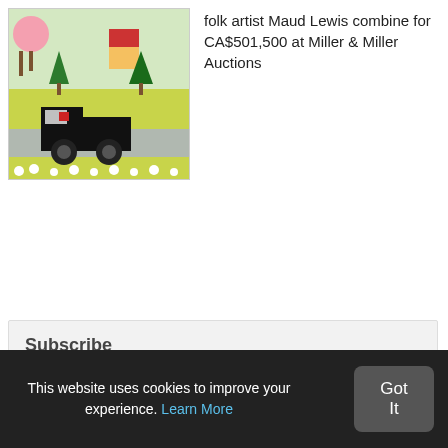[Figure (illustration): Folk art painting by Maud Lewis showing a black vintage truck on a road, with colourful trees, a red-roofed house, and flowers in the foreground against a yellow-green background.]
folk artist Maud Lewis combine for CA$501,500 at Miller & Miller Auctions
Subscribe
Enter your email address below to receive updates each time we publish new content.
[Figure (illustration): Email/RSS subscription icon showing an open envelope with an RSS feed badge.]
This website uses cookies to improve your experience. Learn More
Got It